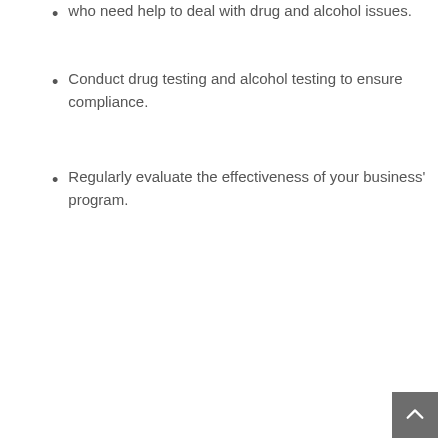who need help to deal with drug and alcohol issues.
Conduct drug testing and alcohol testing to ensure compliance.
Regularly evaluate the effectiveness of your business' program.